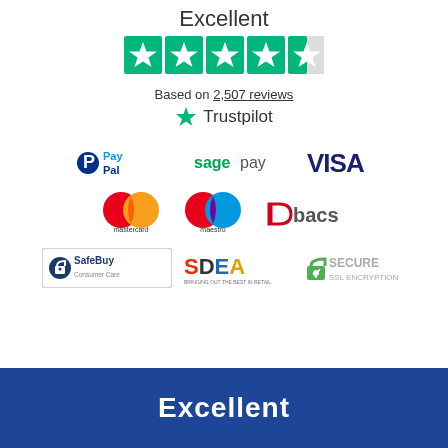Excellent
[Figure (infographic): Trustpilot 4.5 star rating with 5 green stars (last one half-filled)]
Based on 2,507 reviews
[Figure (logo): Trustpilot logo with green star icon]
[Figure (logo): Payment method logos: PayPal, SagePay, VISA, Mastercard, Maestro, Bacs, SafeBuy Consumer Care, SDEA, Secure SSL Encryption]
Excellent